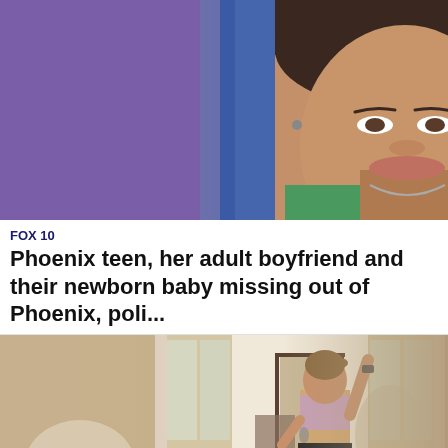[Figure (photo): A close-up photo of a young woman's face against a blurred purple and blue background, appearing to be a mugshot or ID photo. She has dark hair, earrings, and wears a green top with a necklace.]
FOX 10
Phoenix teen, her adult boyfriend and their newborn baby missing out of Phoenix, poli...
[Figure (photo): A photo of a slender woman with her back to the camera, arm raised, standing in a hallway of a house. She wears a lavender sports bra and black shorts with gray sneakers. The hallway has wood floors and glass-paned doors.]